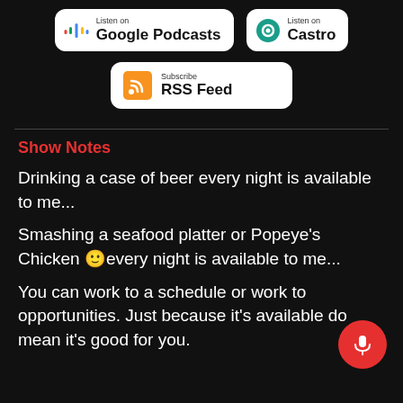[Figure (logo): Listen on Google Podcasts badge (white rounded rectangle with Google Podcasts icon and text)]
[Figure (logo): Listen on Castro badge (white rounded rectangle with Castro icon and text)]
[Figure (logo): Subscribe RSS Feed badge (white rounded rectangle with RSS icon and text)]
Show Notes
Drinking a case of beer every night is available to me...
Smashing a seafood platter or Popeye's Chicken éevery night is available to me...
You can work to a schedule or work to opportunities. Just because it's available do mean it's good for you.
Ha cha na it is a la no a ta la